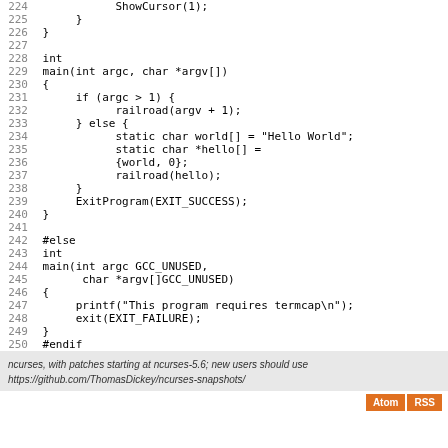Code listing lines 224-250 showing C source code with main function, railroad function calls, and preprocessor directives #else and #endif
ncurses, with patches starting at ncurses-5.6; new users should use https://github.com/ThomasDickey/ncurses-snapshots/